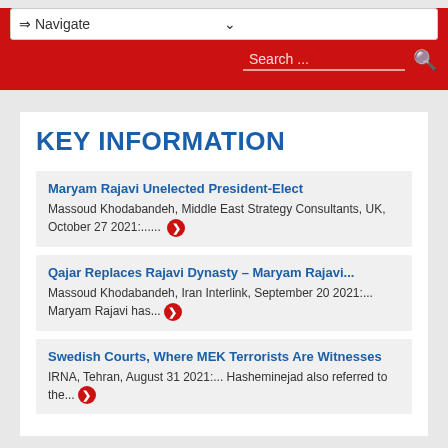Navigate | Search
KEY INFORMATION
Maryam Rajavi Unelected President-Elect
Massoud Khodabandeh, Middle East Strategy Consultants, UK, October 27 2021:......
Qajar Replaces Rajavi Dynasty – Maryam Rajavi...
Massoud Khodabandeh, Iran Interlink, September 20 2021:... Maryam Rajavi has...
Swedish Courts, Where MEK Terrorists Are Witnesses
IRNA, Tehran, August 31 2021:... Hasheminejad also referred to the...